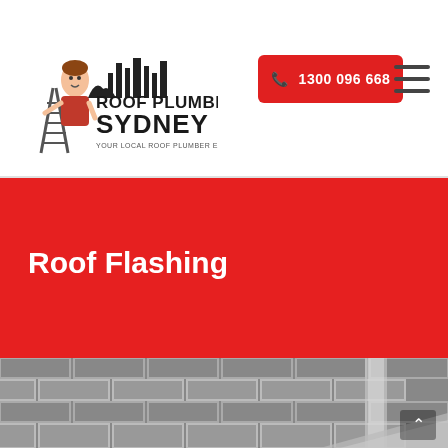Roof Plumbing Sydney — Your Local Roof Plumber Experts
[Figure (logo): Roof Plumbing Sydney logo with cartoon character on ladder and Sydney skyline silhouette]
[Figure (other): Red phone button with phone icon and number 1300 096 668]
[Figure (other): Hamburger menu icon (three horizontal lines)]
Roof Flashing
[Figure (photo): Black and white photo of brick wall with roof flashing/gutter installation detail]